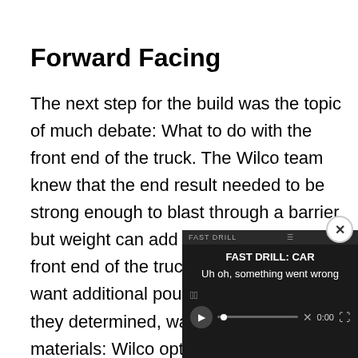Forward Facing
The next step for the build was the topic of much debate: What to do with the front end of the truck. The Wilco team knew that the end result needed to be strong enough to blast through a barrier, but weight can add up quickly and the front end of the truck is not where you want additional pounds. The solution, they determined, was a matter of materials: Wilco opted for an aluminum bumper/grille guard. As the shape, mounts were instal what Wilco considered to important aspects of the p